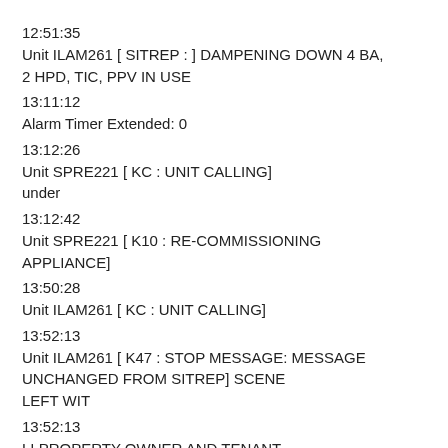12:51:35
Unit ILAM261 [ SITREP : ] DAMPENING DOWN 4 BA, 2 HPD, TIC, PPV IN USE
13:11:12
Alarm Timer Extended: 0
13:12:26
Unit SPRE221 [ KC : UNIT CALLING] under
13:12:42
Unit SPRE221 [ K10 : RE-COMMISSIONING APPLIANCE]
13:50:28
Unit ILAM261 [ KC : UNIT CALLING]
13:52:13
Unit ILAM261 [ K47 : STOP MESSAGE: MESSAGE UNCHANGED FROM SITREP] SCENE LEFT WIT
13:52:13
LI PROPERTY OWNER AND TENANT